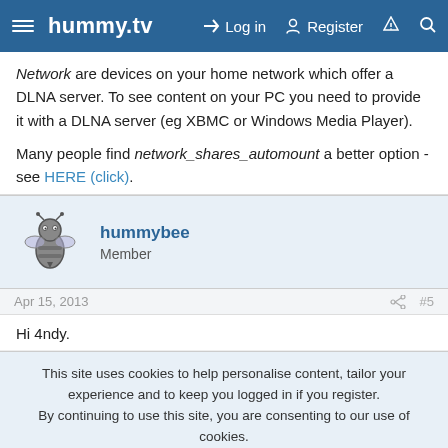hummy.tv  Log in  Register
Network are devices on your home network which offer a DLNA server. To see content on your PC you need to provide it with a DLNA server (eg XBMC or Windows Media Player).
Many people find network_shares_automount a better option - see HERE (click).
hummybee
Member
Apr 15, 2013   #5
Hi 4ndy.
This site uses cookies to help personalise content, tailor your experience and to keep you logged in if you register.
By continuing to use this site, you are consenting to our use of cookies.